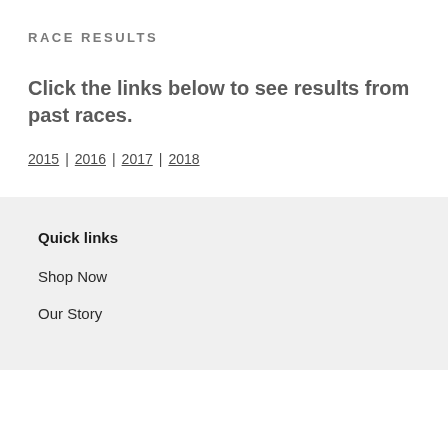RACE RESULTS
Click the links below to see results from past races.
2015 | 2016 | 2017 | 2018
Quick links
Shop Now
Our Story